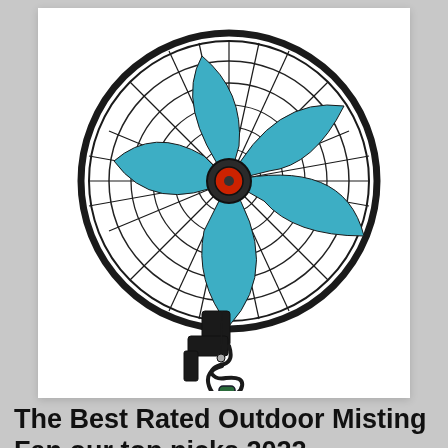[Figure (photo): A wall-mounted outdoor misting fan with black wire grid housing and blue fan blades, a red center hub, black mounting bracket, and a coiled black hose/cable hanging below with a green connector at the end.]
The Best Rated Outdoor Misting Fan our top picks 2022 –